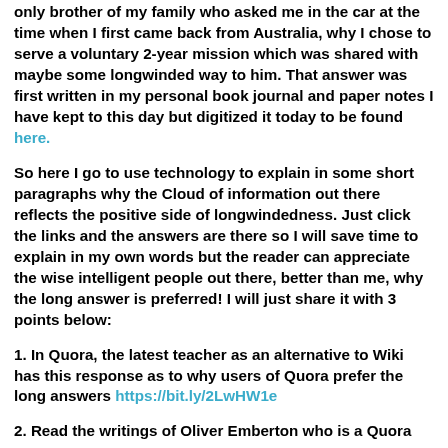only brother of my family who asked me in the car at the time when I first came back from Australia, why I chose to serve a voluntary 2-year mission which was shared with maybe some longwinded way to him. That answer was first written in my personal book journal and paper notes I have kept to this day but digitized it today to be found here.
So here I go to use technology to explain in some short paragraphs why the Cloud of information out there reflects the positive side of longwindedness. Just click the links and the answers are there so I will save time to explain in my own words but the reader can appreciate the wise intelligent people out there, better than me, why the long answer is preferred! I will just share it with 3 points below:
1. In Quora, the latest teacher as an alternative to Wiki has this response as to why users of Quora prefer the long answers https://bit.ly/2LwHW1e
2. Read the writings of Oliver Emberton who is a Quora